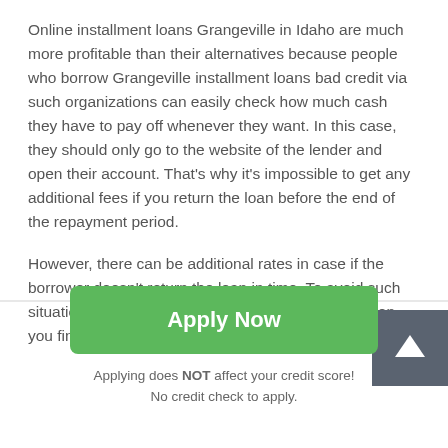Online installment loans Grangeville in Idaho are much more profitable than their alternatives because people who borrow Grangeville installment loans bad credit via such organizations can easily check how much cash they have to pay off whenever they want. In this case, they should only go to the website of the lender and open their account. That's why it's impossible to get any additional fees if you return the loan before the end of the repayment period.
However, there can be additional rates in case if the borrower doesn't return the loan in time. To avoid such situations, recommended notifying the lender as soon you find out that you won't be able to pay off before the
[Figure (other): Green 'Apply Now' button]
Applying does NOT affect your credit score!
No credit check to apply.